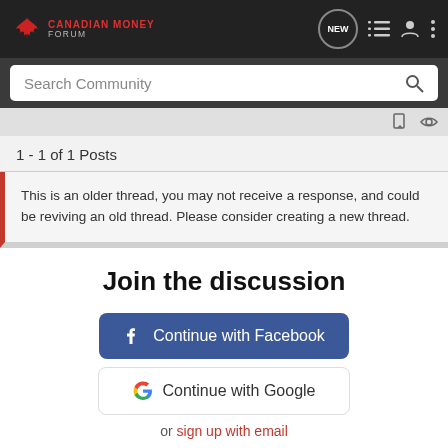[Figure (logo): Canadian Money Forum logo with red maple leaf and red bold text]
[Figure (screenshot): Search Community bar with magnifying glass icon on dark background]
1 - 1 of 1 Posts
This is an older thread, you may not receive a response, and could be reviving an old thread. Please consider creating a new thread.
Join the discussion
Continue with Facebook
Continue with Google
or sign up with email